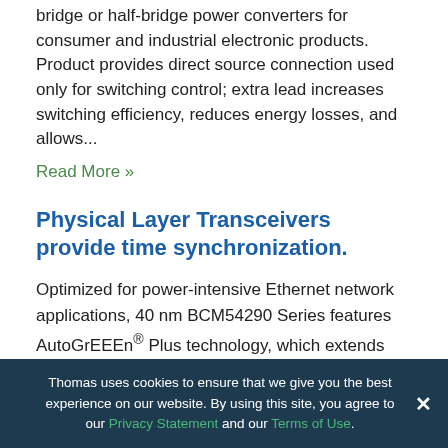bridge or half-bridge power converters for consumer and industrial electronic products. Product provides direct source connection used only for switching control; extra lead increases switching efficiency, reduces energy losses, and allows...
Read More »
Physical Layer Transceivers provide time synchronization.
Optimized for power-intensive Ethernet network applications, 40 nm BCM54290 Series features AutoGrEEEn® Plus technology, which extends energy savings to legacy MACs and non-EEE devices. Technology can be deployed when device is in Energy Efficient Ethernet mode communicating with EEE link partner or
Thomas uses cookies to ensure that we give you the best experience on our website. By using this site, you agree to our Privacy Statement and our Terms of Use.